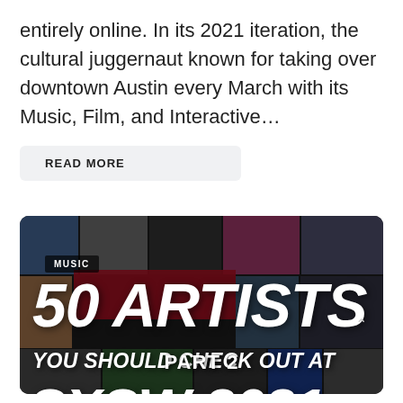entirely online. In its 2021 iteration, the cultural juggernaut known for taking over downtown Austin every March with its Music, Film, and Interactive…
READ MORE
[Figure (photo): Promotional image for '50 Artists You Should Check Out at SXSW 2021 Part 2' — a collage of musician portraits overlaid with bold white italic text on a dark background, with a 'MUSIC' category label in the upper left.]